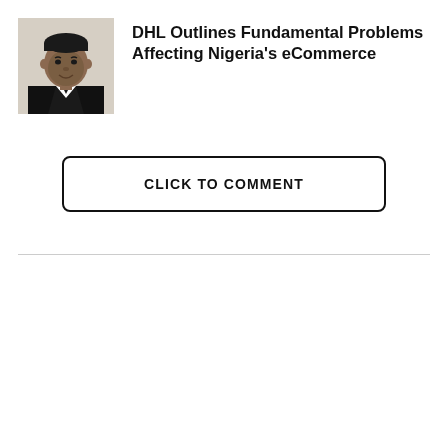[Figure (photo): Headshot of a man in a dark suit and white shirt, smiling.]
DHL Outlines Fundamental Problems Affecting Nigeria’s eCommerce
CLICK TO COMMENT